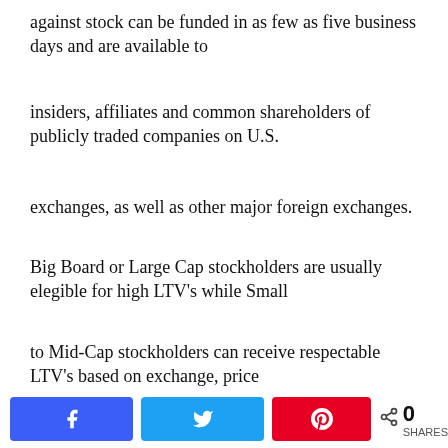against stock can be funded in as few as five business days and are available to
insiders, affiliates and common shareholders of publicly traded companies on U.S.
exchanges, as well as other major foreign exchanges.
Big Board or Large Cap stockholders are usually elegible for high LTV's while Small
to Mid-Cap stockholders can receive respectable LTV's based on exchange, price
and liquidity. Furthermore, no expenses or upfront fees